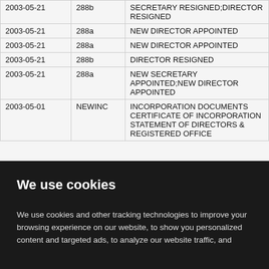| Date | Form | Description |
| --- | --- | --- |
| 2003-05-21 | 288b | SECRETARY RESIGNED;DIRECTOR RESIGNED |
| 2003-05-21 | 288a | NEW DIRECTOR APPOINTED |
| 2003-05-21 | 288a | NEW DIRECTOR APPOINTED |
| 2003-05-21 | 288b | DIRECTOR RESIGNED |
| 2003-05-21 | 288a | NEW SECRETARY APPOINTED;NEW DIRECTOR APPOINTED |
| 2003-05-01 | NEWINC | INCORPORATION DOCUMENTS CERTIFICATE OF INCORPORATION STATEMENT OF DIRECTORS & REGISTERED OFFICE |
We use cookies
We use cookies and other tracking technologies to improve your browsing experience on our website, to show you personalized content and targeted ads, to analyze our website traffic, and